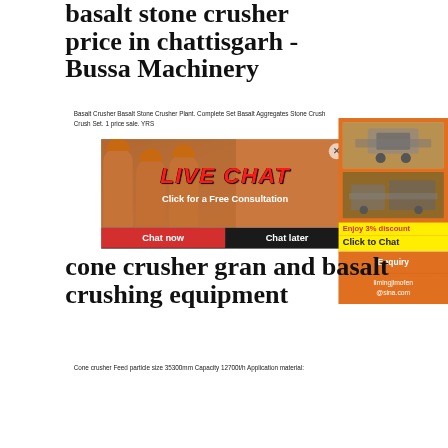basalt stone crusher price in chattisgarh - Bussa Machinery
Basalt Crusher Basalt Stone Crusher Plant. Complete Set Basalt Aggregates Stone Crush Crush Set. 1 price sale. YRS
[Figure (screenshot): Live chat popup overlay with photo of workers in hard hats, LIVE CHAT text in red, Click for a Free Consultation subtitle, Chat now and Chat later buttons]
[Figure (screenshot): Right sidebar with orange background showing crusher machine images, Enjoy 3% discount and Click to Chat buttons, Enquiry section, and limingjlmofen@sina.com email]
cone crusher gran and basalt crushing equipment
Cone crusher Feed particle size 35300mm Capacity 12700t/h Application material: